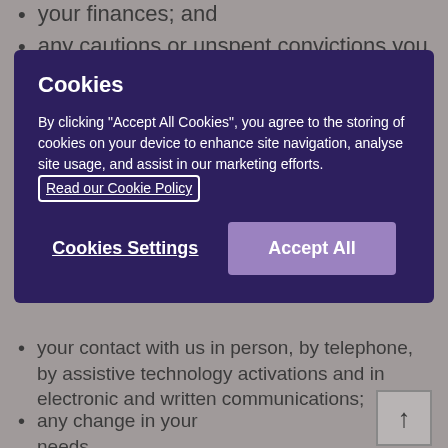your finances; and
any cautions or unspent convictions you may have.
[Figure (screenshot): Cookie consent modal with dark purple background. Title 'Cookies' in bold white. Body text explaining cookie usage, a 'Read our Cookie Policy' link with border, and two buttons: 'Cookies Settings' (underlined text) and 'Accept All' (purple filled button).]
your contact with us in person, by telephone, by assistive technology activations and in electronic and written communications;
any change in your needs
financial records about payments relating to your tenancy, any outstanding amounts and associated recovery action;